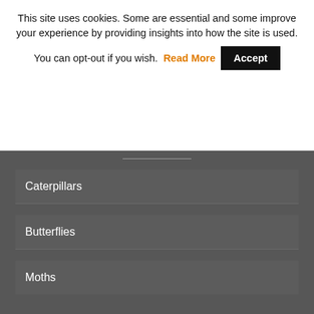This site uses cookies. Some are essential and some improve your experience by providing insights into how the site is used. You can opt-out if you wish. Read More  Accept
Caterpillars
Butterflies
Moths
Top caterpillars
Caterpillar identification
Caterpillar pests
Hairy caterpillars